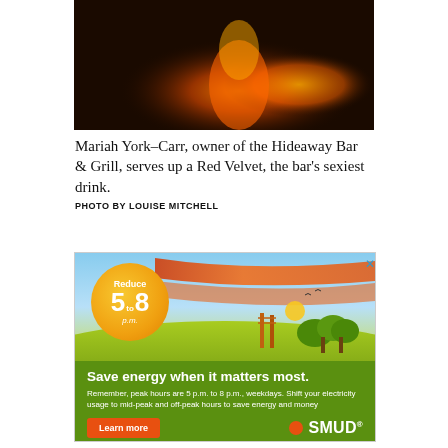[Figure (photo): Dark background photo showing glowing red/orange drink, likely a Red Velvet cocktail, at Hideaway Bar & Grill]
Mariah York-Carr, owner of the Hideaway Bar & Grill, serves up a Red Velvet, the bar's sexiest drink. PHOTO BY LOUISE MITCHELL
[Figure (illustration): SMUD advertisement - Reduce 5 to 8 p.m. energy campaign. Shows orange sun/circle with text 'Reduce 5 to 8 p.m.' over a colorful landscape scene. Green bottom section with text 'Save energy when it matters most. Remember, peak hours are 5 p.m. to 8 p.m., weekdays. Shift your electricity usage to mid-peak and off-peak hours to save energy and money'. Learn more button and SMUD logo.]